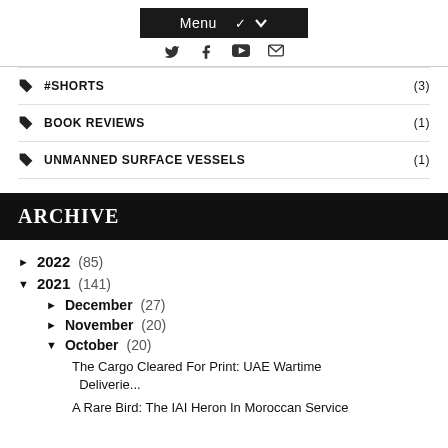Menu [social icons: twitter, facebook, youtube, email]
#SHORTS (3)
BOOK REVIEWS (1)
UNMANNED SURFACE VESSELS (1)
ARCHIVE
► 2022 (85)
▼ 2021 (141)
► December (27)
► November (20)
▼ October (20)
The Cargo Cleared For Print: UAE Wartime Deliverie...
A Rare Bird: The IAI Heron In Moroccan Service